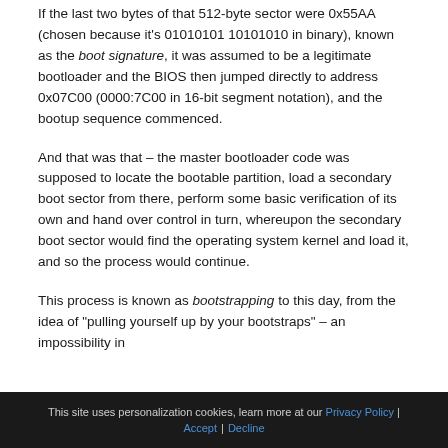If the last two bytes of that 512-byte sector were 0x55AA (chosen because it's 01010101 10101010 in binary), known as the boot signature, it was assumed to be a legitimate bootloader and the BIOS then jumped directly to address 0x07C00 (0000:7C00 in 16-bit segment notation), and the bootup sequence commenced.
And that was that – the master bootloader code was supposed to locate the bootable partition, load a secondary boot sector from there, perform some basic verification of its own and hand over control in turn, whereupon the secondary boot sector would find the operating system kernel and load it, and so the process would continue.
This process is known as bootstrapping to this day, from the idea of "pulling yourself up by your bootstraps" – an impossibility in
This site uses personalization cookies, learn more at our Privacy Policy | Accept | Decline